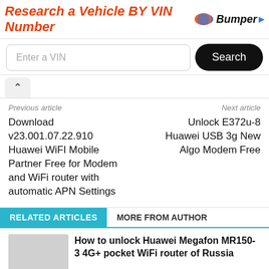[Figure (screenshot): Ad banner: 'Research a Vehicle BY VIN Number' with Bumper logo and VIN search input box with Search button]
Previous article
Next article
Download v23.001.07.22.910 Huawei WiFI Mobile Partner Free for Modem and WiFi router with automatic APN Settings
Unlock E372u-8 Huawei USB 3g New Algo Modem Free
RELATED ARTICLES   MORE FROM AUTHOR
How to unlock Huawei Megafon MR150-3 4G+ pocket WiFi router of Russia
How to Unlock Huawei E5573s-606